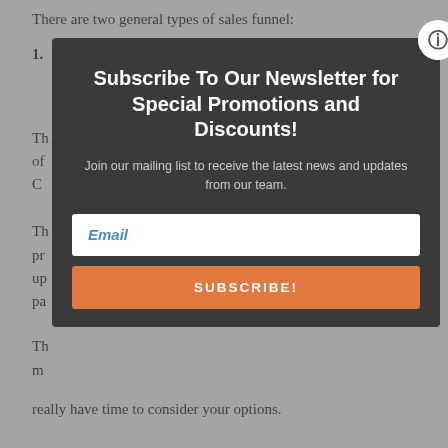There are two general types of sales funnel:
1.
Th... of... C...
Th... pr... up... pa...
Th... m...
really have time to consider your options.
[Figure (screenshot): Newsletter subscription modal popup with dark background, title 'Subscribe To Our Newsletter for Special Promotions and Discounts!', subtitle 'Join our mailing list to receive the latest news and updates from our team.', an email input field, and an orange SUBSCRIBE! button. A white circular close button is in the top-right corner.]